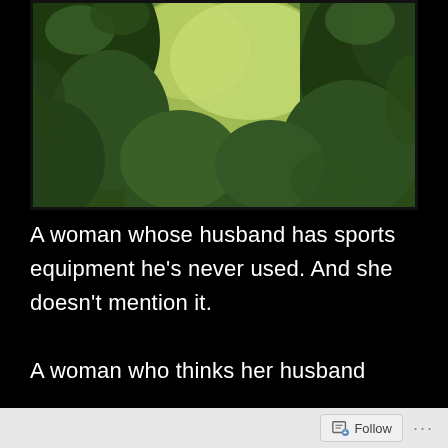[Figure (photo): Close-up photograph of dense green leafy bushes/hedges with blurred bright green/yellow background (bokeh effect), dark black border around the image.]
A woman whose husband has sports equipment he’s never used. And she doesn’t mention it.

A woman who thinks her husband
Follow ...